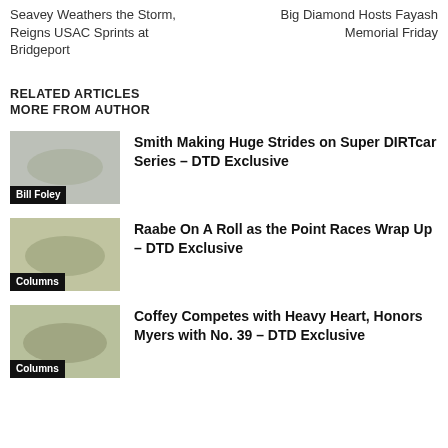Seavey Weathers the Storm, Reigns USAC Sprints at Bridgeport
Big Diamond Hosts Fayash Memorial Friday
RELATED ARTICLES
MORE FROM AUTHOR
[Figure (photo): Racing car photo thumbnail with label 'Bill Foley']
Smith Making Huge Strides on Super DIRTcar Series – DTD Exclusive
[Figure (photo): Racing car photo thumbnail with label 'Columns']
Raabe On A Roll as the Point Races Wrap Up – DTD Exclusive
[Figure (photo): Racing car photo thumbnail with label 'Columns']
Coffey Competes with Heavy Heart, Honors Myers with No. 39 – DTD Exclusive